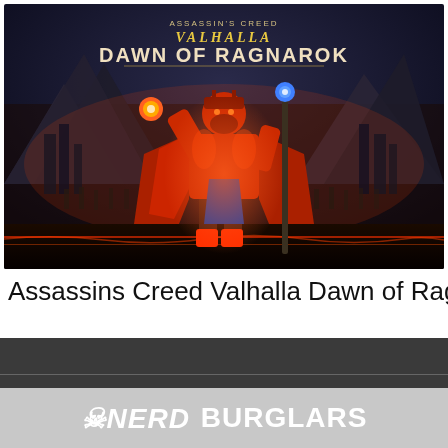[Figure (illustration): Promotional artwork for Assassin's Creed Valhalla Dawn of Ragnarok, showing a large armored Norse character in fiery red cloak holding a staff, with warriors and dark mountainous landscape in background. The game title is displayed at the top: ASSASSIN'S CREED VALHALLA / DAWN OF RAGNAROK]
Assassins Creed Valhalla Dawn of Ragnarok
NERD BURGLARS